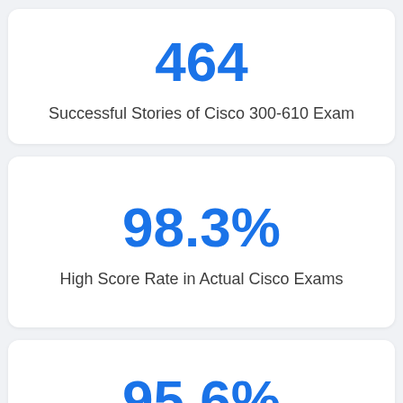464
Successful Stories of Cisco 300-610 Exam
98.3%
High Score Rate in Actual Cisco Exams
95.6%